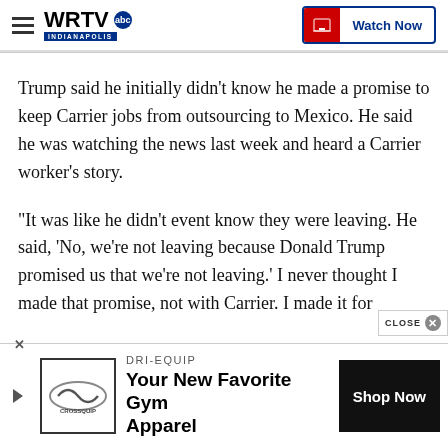WRTV Indianapolis | Watch Now
Trump said he initially didn't know he made a promise to keep Carrier jobs from outsourcing to Mexico. He said he was watching the news last week and heard a Carrier worker's story.
"It was like he didn't event know they were leaving. He said, 'No, we're not leaving because Donald Trump promised us that we're not leaving.' I never thought I made that promise, not with Carrier. I made it for
[Figure (screenshot): Advertisement banner: DRI-EQUIP Your New Favorite Gym Apparel with Shop Now button]